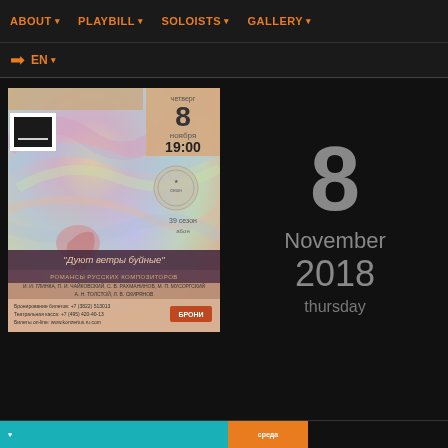ABOUT ▾   PLAYBILL ▾   SOLOISTS ▾   GALLERY ▾   EN ▾
[Figure (illustration): Concert event poster for November 8, 2018 at 19:00 — 'Дуют ветры буйные' (Romances of Russian Composers). Colorful swirling artistic background with a figure. Includes date box: 8 ноября 19:00, logos, and ticket info.]
8
November
2018
thursday